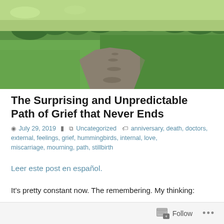[Figure (photo): Aerial/ground-level photo of a stone path winding through a lush green field, with trees in the background]
The Surprising and Unpredictable Path of Grief that Never Ends
July 29, 2019   Uncategorized   anniversary, death, doctors, external, feelings, grief, hummingbirds, internal, love, miscarriage, mourning, path, stillbirth
Leer este post en español.
It’s pretty constant now. The remembering. My thinking:
Follow ...